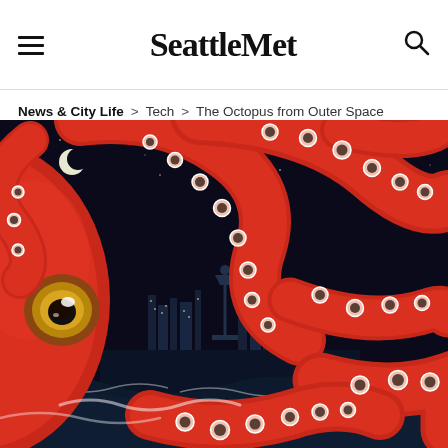Seattle Met
News & City Life > Tech > The Octopus from Outer Space
[Figure (illustration): Dramatic illustration of a giant red octopus with glowing golden eye and white-tipped suckers, tentacles filling the frame, set against a dark starry night sky with a crescent moon and a city skyline (Seattle Space Needle visible) reflected on dark water below.]